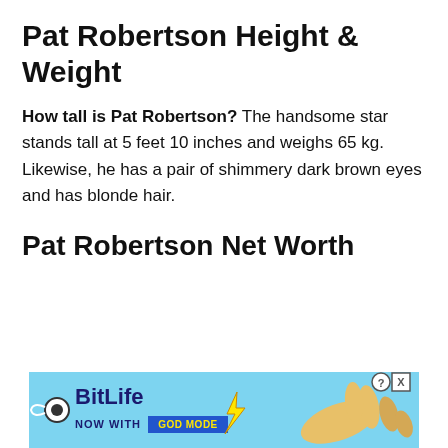Pat Robertson Height & Weight
How tall is Pat Robertson? The handsome star stands tall at 5 feet 10 inches and weighs 65 kg. Likewise, he has a pair of shimmery dark brown eyes and has blonde hair.
Pat Robertson Net Worth
[Figure (other): BitLife advertisement banner with light blue background showing BitLife logo, 'NOW WITH GOD MODE' text, a lightning bolt, and a hand pointing gesture. Has question mark and X close icons in top right.]